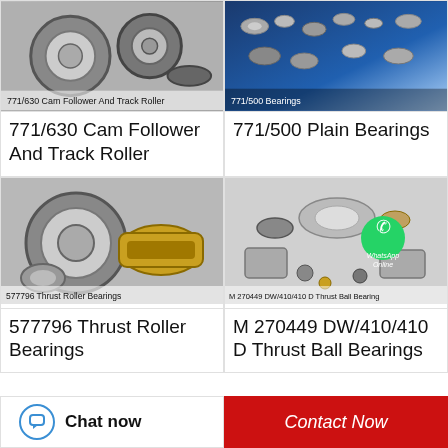[Figure (photo): Cam follower and track roller bearings product photo with label '771/630 Cam Follower And Track Roller']
[Figure (photo): Plain bearings product photo on blue background with label '771/500 Bearings']
771/630  Cam Follower And Track Roller
771/500  Plain Bearings
[Figure (photo): Thrust roller bearings including silver and gold-colored bearings with label '577796 Thrust Roller Bearings']
[Figure (photo): Various bearings, seals and mounted units with WhatsApp Online overlay and label 'M 270449 DW/410/410 D Thrust Ball Bearings']
577796 Thrust Roller Bearings
M 270449 DW/410/410 D Thrust Ball Bearings
Chat now
Contact Now